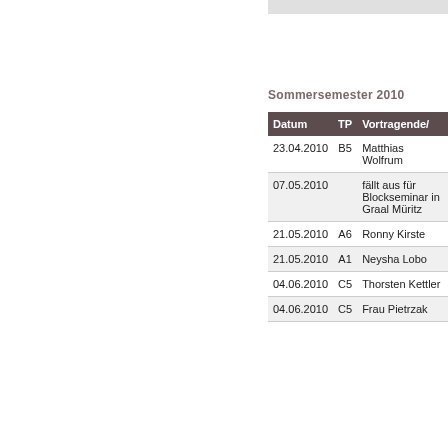Sommersemester 2010
| Datum | TP | Vortragende/ |
| --- | --- | --- |
| 23.04.2010 | B5 | Matthias Wolfrum |
| 07.05.2010 |  | fällt aus für Blockseminar in Graal Müritz |
| 21.05.2010 | A6 | Ronny Kirste |
| 21.05.2010 | A1 | Neysha Lobo |
| 04.06.2010 | C5 | Thorsten Kettler |
| 04.06.2010 | C5 | Frau Pietrzak |